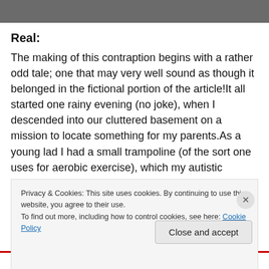[Figure (photo): Dark gray/black image at top of page, partial view of a photo]
Real:
The making of this contraption begins with a rather odd tale; one that may very well sound as though it belonged in the fictional portion of the article!It all started one rainy evening (no joke), when I descended into our cluttered basement on a mission to locate something for my parents.As a young lad I had a small trampoline (of the sort one uses for aerobic exercise), which my autistic
Privacy & Cookies: This site uses cookies. By continuing to use this website, you agree to their use.
To find out more, including how to control cookies, see here: Cookie Policy
Close and accept